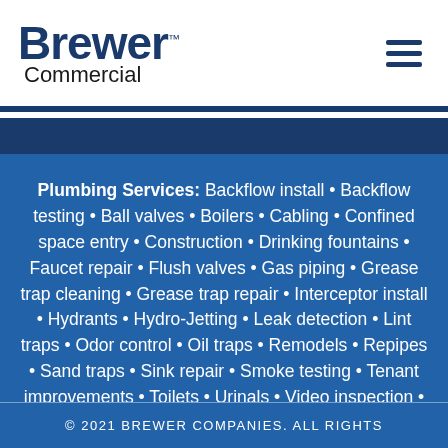[Figure (logo): Brewer Commercial logo with dark blue bold text and hamburger menu icon]
Plumbing Services: Backflow install • Backflow testing • Ball valves • Boilers • Cabling • Confined space entry • Construction • Drinking fountains • Faucet repair • Flush valves • Gas piping • Grease trap cleaning • Grease trap repair • Interceptor install • Hydrants • Hydro-Jetting • Leak detection • Lint traps • Odor control • Oil traps • Remodels • Repipes • Sand traps • Sink repair • Smoke testing • Tenant improvements • Toilets • Urinals • Video inspection • Video locating • Water heater install • Water heater repair
© 2021 BREWER COMPANIES. ALL RIGHTS